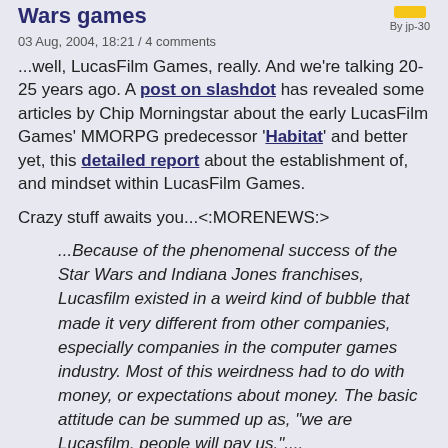Wars games
03 Aug, 2004, 18:21 / 4 comments
...well, LucasFilm Games, really. And we're talking 20-25 years ago. A post on slashdot has revealed some articles by Chip Morningstar about the early LucasFilm Games' MMORPG predecessor 'Habitat' and better yet, this detailed report about the establishment of, and mindset within LucasFilm Games.
Crazy stuff awaits you...<:MORENEWS:>
...Because of the phenomenal success of the Star Wars and Indiana Jones franchises, Lucasfilm existed in a weird kind of bubble that made it very different from other companies, especially companies in the computer games industry. Most of this weirdness had to do with money, or expectations about money. The basic attitude can be summed up as, "we are Lucasfilm, people will pay us."....